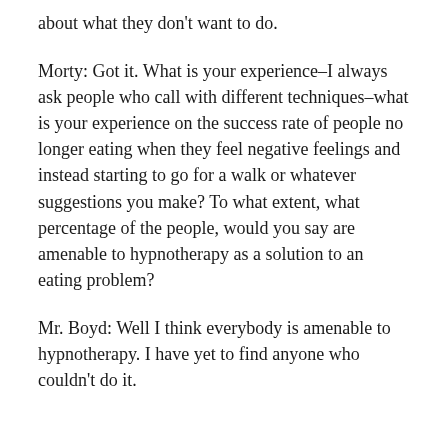about what they don't want to do.
Morty: Got it. What is your experience–I always ask people who call with different techniques–what is your experience on the success rate of people no longer eating when they feel negative feelings and instead starting to go for a walk or whatever suggestions you make? To what extent, what percentage of the people, would you say are amenable to hypnotherapy as a solution to an eating problem?
Mr. Boyd: Well I think everybody is amenable to hypnotherapy. I have yet to find anyone who couldn't do it.